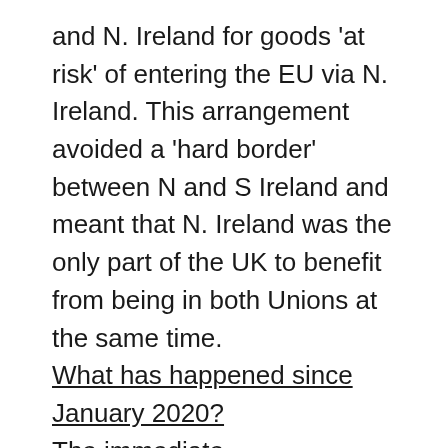and N. Ireland for goods 'at risk' of entering the EU via N. Ireland. This arrangement avoided a 'hard border' between N and S Ireland and meant that N. Ireland was the only part of the UK to benefit from being in both Unions at the same time.
What has happened since January 2020?
The immediate consequences both of Brexit itself and the NIP are an increase in trade between N. and S. Ireland and a reduction in trade between Ireland and the UK as EU produce (inbound and outbound) has increasingly been dispatched by sea direct from S. Ireland to the European Mainland, by-passing